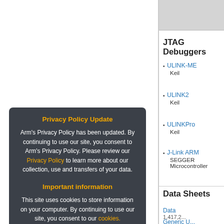JTAG Debuggers
ULINK-ME
Keil
ULINK2
Keil
ULINKPro
Keil
J-Link ARM
SEGGER Microcontroller
Privacy Policy Update

Arm's Privacy Policy has been updated. By continuing to use our site, you consent to Arm's Privacy Policy. Please review our Privacy Policy to learn more about our collection, use and transfers of your data.

[Accept and hide this message]
Important information

This site uses cookies to store information on your computer. By continuing to use our site, you consent to our cookies.

[Don't show this message again]

Change Settings
Data Sheets
Data...
1,417,2...
Generic U...
1,364,1...